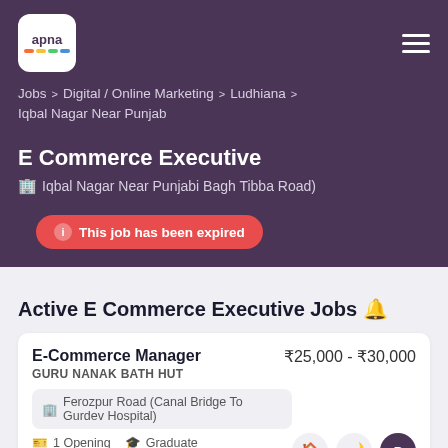[Figure (logo): Apna app logo - white rounded square with 'apna' text and colorful bars]
Jobs > Digital / Online Marketing > Ludhiana > Iqbal Nagar Near Punjab
E Commerce Executive
Iqbal Nagar Near Punjabi Bagh Tibba Road)
This job has been expired
Active E Commerce Executive Jobs 🔔
E-Commerce Manager
GURU NANAK BATH HUT
₹25,000 - ₹30,000
Ferozpur Road (Canal Bridge To Gurdev Hospital)
1 Opening
Graduate
Min. 1 Years